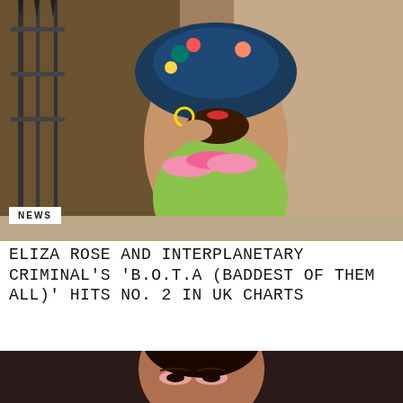[Figure (photo): Woman wearing a large floral blue hat, green off-shoulder ruffled dress, gold hoop earrings, sitting on steps outside a building with iron railings]
NEWS
ELIZA ROSE AND INTERPLANETARY CRIMINAL'S 'B.O.T.A (BADDEST OF THEM ALL)' HITS NO. 2 IN UK CHARTS
[Figure (photo): Close-up portrait of a woman with dramatic makeup, pink eyeshadow, wearing a dark outfit, partially cropped at bottom of page]